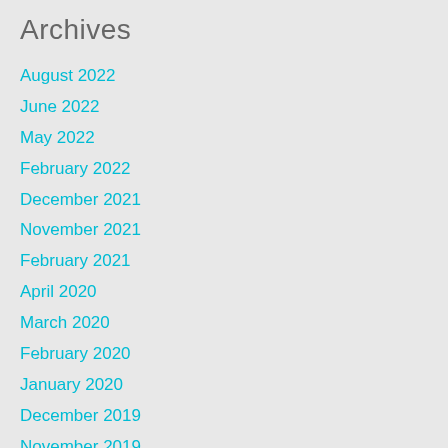Archives
August 2022
June 2022
May 2022
February 2022
December 2021
November 2021
February 2021
April 2020
March 2020
February 2020
January 2020
December 2019
November 2019
October 2019
September 2019
August 2019
July 2019
June 2019